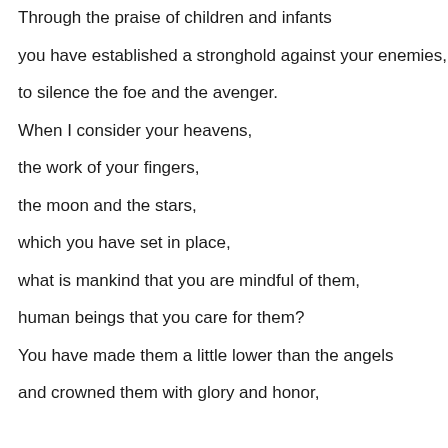Through the praise of children and infants
you have established a stronghold against your enemies,
to silence the foe and the avenger.
When I consider your heavens,
the work of your fingers,
the moon and the stars,
which you have set in place,
what is mankind that you are mindful of them,
human beings that you care for them?
You have made them a little lower than the angels
and crowned them with glory and honor,